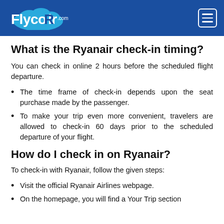FlycoAir.com
What is the Ryanair check-in timing?
You can check in online 2 hours before the scheduled flight departure.
The time frame of check-in depends upon the seat purchase made by the passenger.
To make your trip even more convenient, travelers are allowed to check-in 60 days prior to the scheduled departure of your flight.
How do I check in on Ryanair?
To check-in with Ryanair, follow the given steps:
Visit the official Ryanair Airlines webpage.
On the homepage, you will find a Your Trip section